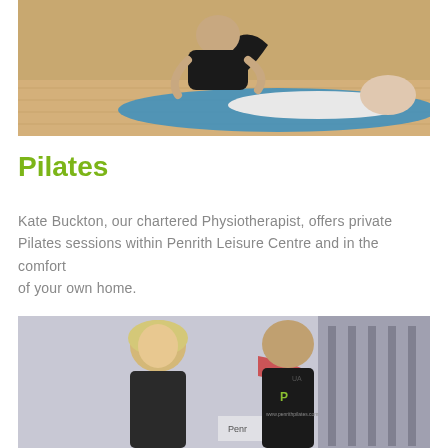[Figure (photo): A physiotherapist performing Pilates exercise with a patient lying on a blue mat on a wooden floor. The therapist is assisting leg raises.]
Pilates
Kate Buckton, our chartered Physiotherapist, offers private Pilates sessions within Penrith Leisure Centre and in the comfort of your own home.
[Figure (photo): Two people standing in a gym setting. A blonde woman and a man wearing a dark t-shirt with text, surrounded by gym equipment.]